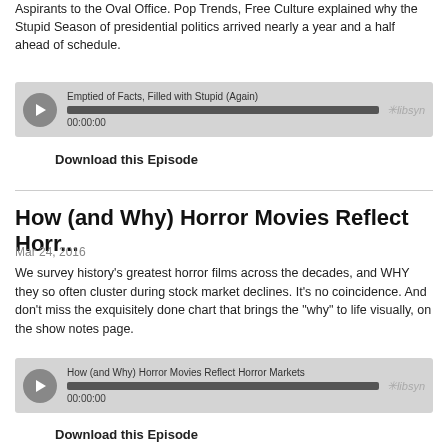Aspirants to the Oval Office. Pop Trends, Free Culture explained why the Stupid Season of presidential politics arrived nearly a year and a half ahead of schedule.
[Figure (other): Libsyn audio player showing episode: Emptied of Facts, Filled with Stupid (Again), time 00:00:00]
Download this Episode
How (and Why) Horror Movies Reflect Horr...
Mar 24, 2016
We survey history's greatest horror films across the decades, and WHY they so often cluster during stock market declines. It's no coincidence. And don't miss the exquisitely done chart that brings the "why" to life visually, on the show notes page.
[Figure (other): Libsyn audio player showing episode: How (and Why) Horror Movies Reflect Horror Markets, time 00:00:00]
Download this Episode